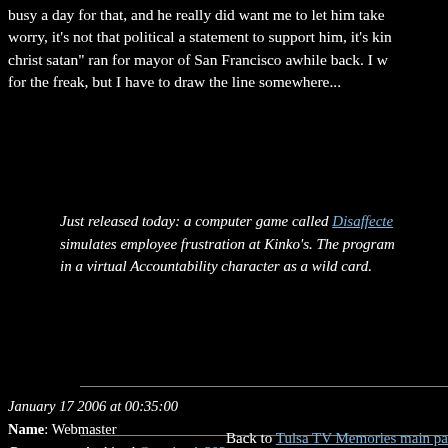busy a day for that, and he really did want me to let him take worry, it's not that political a statement to support him, it's kin christ satan" ran for mayor of San Francisco awhile back. I w for the freak, but I have to draw the line somewhere...
Just released today: a computer game called Disaffecte simulates employee frustration at Kinko's. The program in a virtual Accountability character as a wild card.
January 17 2006 at 00:35:00
Name: Webmaster
Comments: Archived Guestbook 202...
Back to Tulsa TV Memories main pa